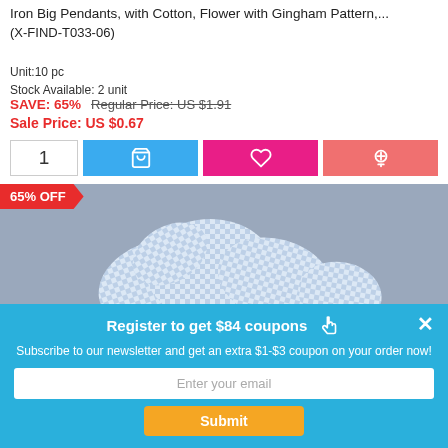Iron Big Pendants, with Cotton, Flower with Gingham Pattern,... (X-FIND-T033-06)
Unit:10 pc
Stock Available: 2 unit
SAVE: 65%   Regular Price: US $1.91
Sale Price: US $0.67
[Figure (screenshot): Product action buttons: quantity input showing 1, blue cart button, pink wishlist button, salmon coupon button]
[Figure (photo): Product photo showing heart-shaped fabric pendants with blue and white gingham/checkered pattern on gray background, with 65% OFF badge]
Register to get $84 coupons
Subscribe to our newsletter and get an extra $1-$3 coupon on your order now!
Enter your email
Submit